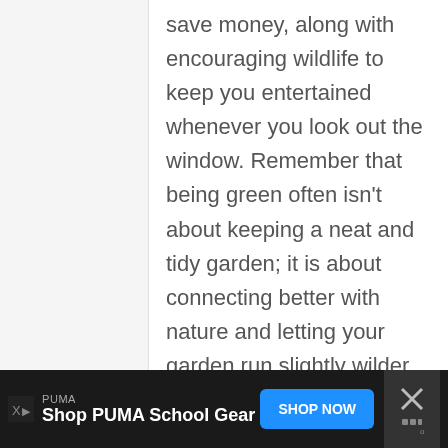save money, along with encouraging wildlife to keep you entertained whenever you look out the window. Remember that being green often isn't about keeping a neat and tidy garden; it is about connecting better with nature and letting your garden run slightly wilder.
[Figure (other): Advertisement banner at bottom of page. Black background. PUMA brand ad reading 'Shop PUMA School Gear' with a blue 'SHOP NOW' button and a close (X) button on the right.]